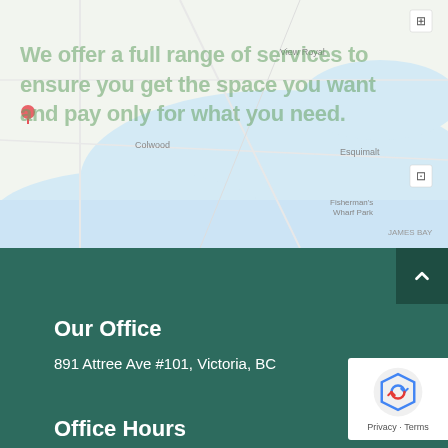[Figure (map): Google Maps screenshot showing Victoria, BC area including View Royal, Esquimalt, Colwood, and Fisherman's Wharf Park. Water bodies shown in light blue, land in light green/white.]
We offer a full range of services to ensure you get the space you want and pay only for what you need.
Our Office
891 Attree Ave #101, Victoria, BC
Office Hours